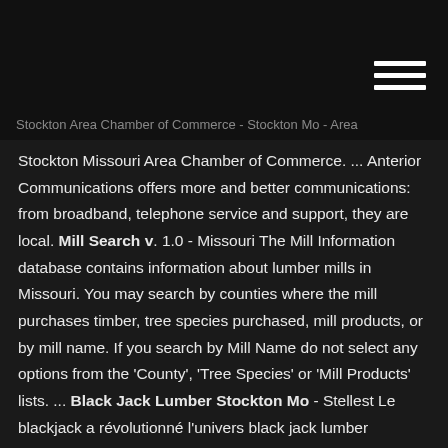Stockton Area Chamber of Commerce - Stockton Mo - Area
Stockton Missouri Area Chamber of Commerce. ... Anterior Communications offers more and better communications: from broadband, telephone service and support, they are local. Mill Search v. 1.0 - Missouri The Mill Information database contains information about lumber mills in Missouri. You may search by counties where the mill purchases timber, tree species purchased, mill products, or by mill name. If you search by Mill Name do not select any options from the 'County', 'Tree Species' or 'Mill Products' lists. ... Black Jack Lumber Stockton Mo - Stellest Le blackjack a révolutionné l'univers black jack lumber stockton mo du casino. 5 dollar blackjack seminole hard rock. La table de Blackjack comporte différents éléments :